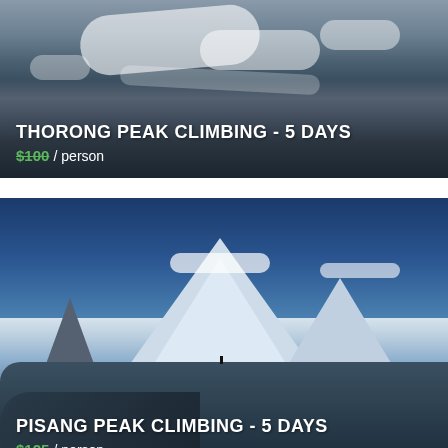[Figure (photo): Thorong Peak mountain climbing photo with snow-covered rocky summit]
THORONG PEAK CLIMBING - 5 DAYS
$100 / person
[Figure (photo): Pisang Peak climbing photo showing snow-capped mountain against blue sky with clouds]
PISANG PEAK CLIMBING - 5 DAYS
$125 / person
NEPAL PEAK CLIMBING
The Nepal Mountaineering Association (NMA) has classified peaks in Nepal as 'trekking peaks', a misleading name because all